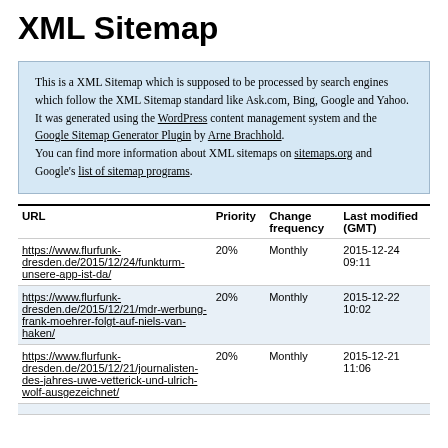XML Sitemap
This is a XML Sitemap which is supposed to be processed by search engines which follow the XML Sitemap standard like Ask.com, Bing, Google and Yahoo.
It was generated using the WordPress content management system and the Google Sitemap Generator Plugin by Arne Brachhold.
You can find more information about XML sitemaps on sitemaps.org and Google's list of sitemap programs.
| URL | Priority | Change frequency | Last modified (GMT) |
| --- | --- | --- | --- |
| https://www.flurfunk-dresden.de/2015/12/24/funkturm-unsere-app-ist-da/ | 20% | Monthly | 2015-12-24 09:11 |
| https://www.flurfunk-dresden.de/2015/12/21/mdr-werbung-frank-moehrer-folgt-auf-niels-van-haken/ | 20% | Monthly | 2015-12-22 10:02 |
| https://www.flurfunk-dresden.de/2015/12/21/journalisten-des-jahres-uwe-vetterick-und-ulrich-wolf-ausgezeichnet/ | 20% | Monthly | 2015-12-21 11:06 |